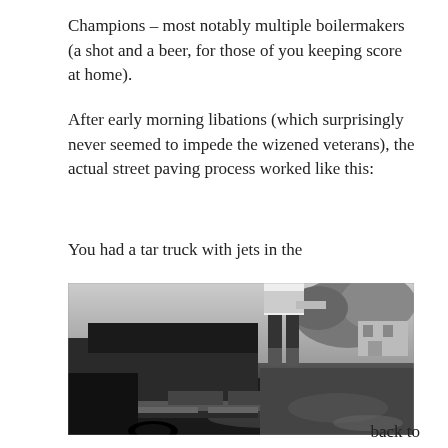Champions – most notably multiple boilermakers (a shot and a beer, for those of you keeping score at home).
After early morning libations (which surprisingly never seemed to impede the wizened veterans), the actual street paving process worked like this:
You had a tar truck with jets in the
[Figure (photo): Black and white photograph of a road paving machine/tar truck at work on a street, with a worker standing on the back and freshly paved asphalt visible, trees and a building in the background.]
back to